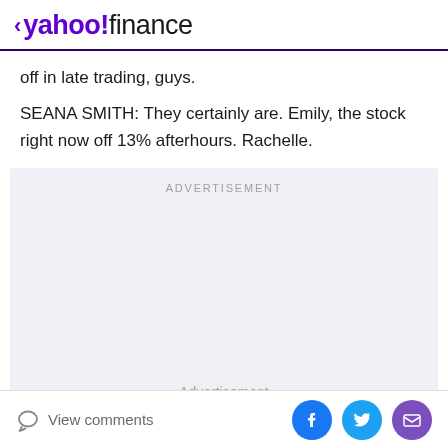yahoo!finance
off in late trading, guys.
SEANA SMITH: They certainly are. Emily, the stock right now off 13% afterhours. Rachelle.
[Figure (other): Advertisement placeholder area with grey background]
View comments